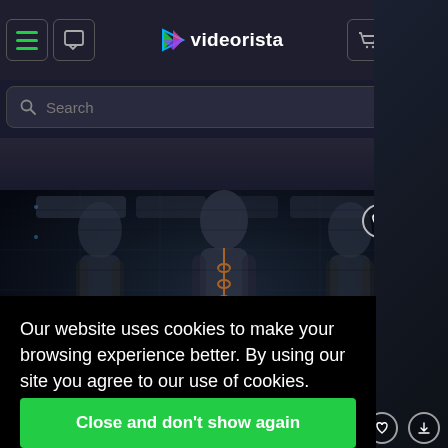[Figure (screenshot): Videorista website navigation bar with hamburger menu, chat icon, logo, cart with badge '0', and purple user icon]
Search
[Figure (photo): Dark sci-fi anatomical/human body 3D render with blue wireframe overlays on dark background]
Our website uses cookies to make your browsing experience better. By using our site you agree to our use of cookies.
Learn more
Close and don't show again